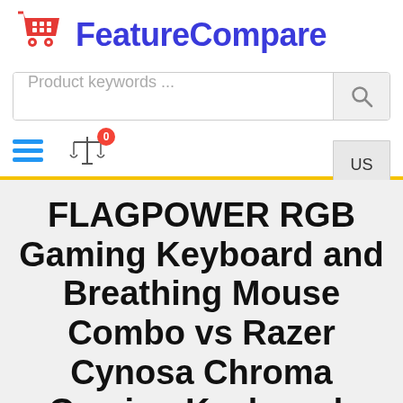FeatureCompare
Product keywords ...
US
FLAGPOWER RGB Gaming Keyboard and Breathing Mouse Combo vs Razer Cynosa Chroma Gaming Keyboard: Individually